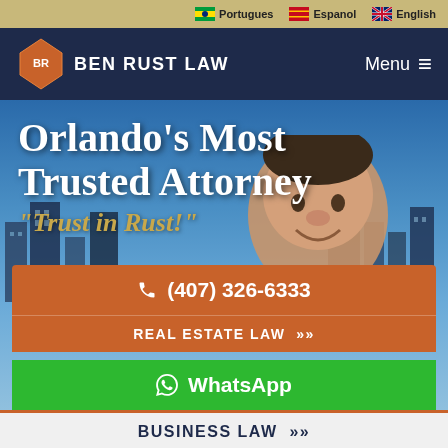Portugues  Espanol  English
[Figure (logo): Ben Rust Law logo with orange diamond shape and white BR initials, white text BEN RUST LAW on dark navy background with Menu hamburger icon]
[Figure (photo): Hero image showing Orlando cityscape in background with blue sky, man's smiling face visible, large white text 'Orlando's Most Trusted Attorney' and golden italic text 'Trust in Rust!']
(407) 326-6333
REAL ESTATE LAW >>
WhatsApp
BUSINESS LAW >>